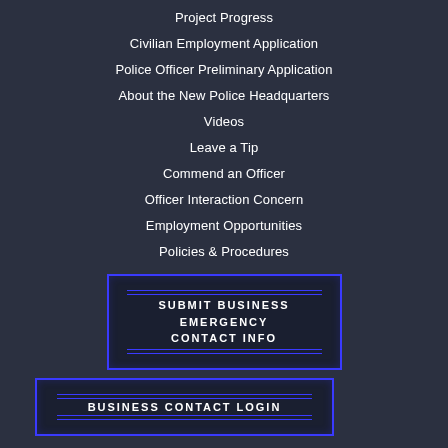Project Progress
Civilian Employment Application
Police Officer Preliminary Application
About the New Police Headquarters
Videos
Leave a Tip
Commend an Officer
Officer Interaction Concern
Employment Opportunities
Policies & Procedures
SUBMIT BUSINESS EMERGENCY CONTACT INFO
BUSINESS CONTACT LOGIN